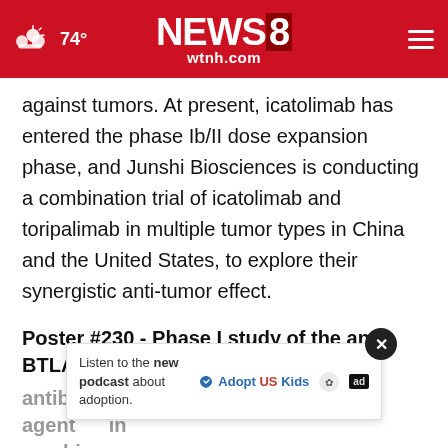74° NEWS8 wtnh.com
against tumors. At present, icatolimab has entered the phase Ib/II dose expansion phase, and Junshi Biosciences is conducting a combination trial of icatolimab and toripalimab in multiple tumor types in China and the United States, to explore their synergistic anti-tumor effect.
Poster #230 - Phase I study of the anti-BTLA antibody icatolimab as a single agent or in combi... released/refractory lymphomas
[Figure (screenshot): Advertisement banner: 'Listen to the new podcast about adoption.' with Adopt US Kids logo, ad badge, and close button]